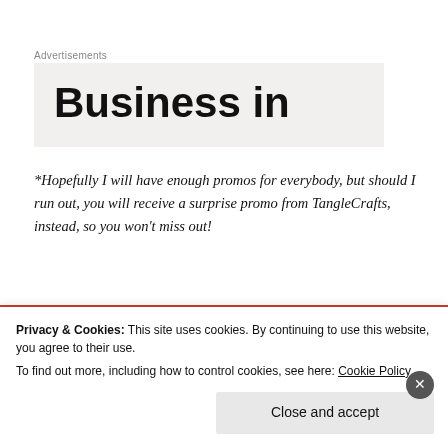Advertisements
Business in
*Hopefully I will have enough promos for everybody, but should I run out, you will receive a surprise promo from TangleCrafts, instead, so you won't miss out!
Privacy & Cookies: This site uses cookies. By continuing to use this website, you agree to their use.
To find out more, including how to control cookies, see here: Cookie Policy
Close and accept